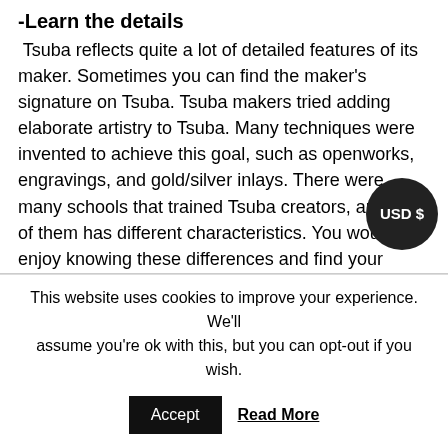-Learn the details
Tsuba reflects quite a lot of detailed features of its maker. Sometimes you can find the maker's signature on Tsuba. Tsuba makers tried adding elaborate artistry to Tsuba. Many techniques were invented to achieve this goal, such as openworks, engravings, and gold/silver inlays. There were many schools that trained Tsuba creators, and each of them has different characteristics. You would enjoy knowing these differences and find your beloved style.
What is included
This item will be packed in a wooden box.
This website uses cookies to improve your experience. We'll assume you're ok with this, but you can opt-out if you wish.
Accept   Read More